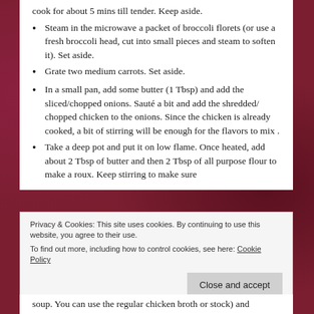cook for about 5 mins till tender. Keep aside.
Steam in the microwave a packet of broccoli florets (or use a fresh broccoli head, cut into small pieces and steam to soften it). Set aside.
Grate two medium carrots. Set aside.
In a small pan, add some butter (1 Tbsp) and add the sliced/chopped onions. Sauté a bit and add the shredded/ chopped chicken to the onions. Since the chicken is already cooked, a bit of stirring will be enough for the flavors to mix .
Take a deep pot and put it on low flame. Once heated, add about 2 Tbsp of butter and then 2 Tbsp of all purpose flour to make a roux. Keep stirring to make sure
Privacy & Cookies: This site uses cookies. By continuing to use this website, you agree to their use. To find out more, including how to control cookies, see here: Cookie Policy
soup. You can use the regular chicken broth or stock) and